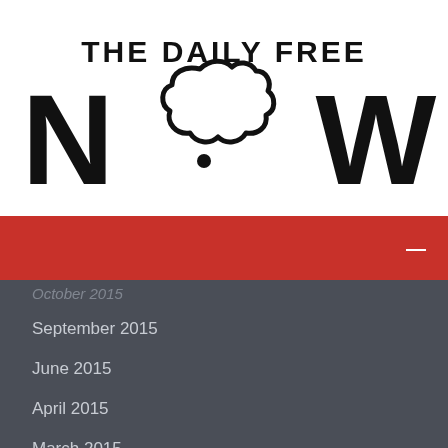[Figure (logo): The Daily Free NOW logo — black bold text 'THE DAILY FREE' above large 'NOW' with a cloud/speech bubble shape replacing the 'O']
October 2015
September 2015
June 2015
April 2015
March 2015
February 2015